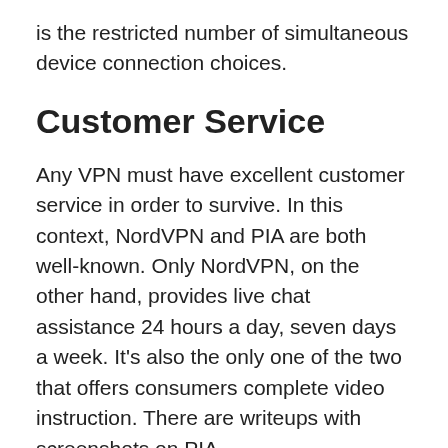is the restricted number of simultaneous device connection choices.
Customer Service
Any VPN must have excellent customer service in order to survive. In this context, NordVPN and PIA are both well-known. Only NordVPN, on the other hand, provides live chat assistance 24 hours a day, seven days a week. It’s also the only one of the two that offers consumers complete video instruction. There are writeups with screenshots on PIA.
Both VPNs have served me well in my own experience. In less than an hour, both services